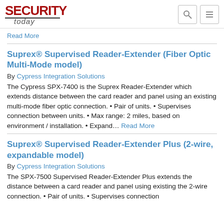SECURITY today
Read More
Suprex® Supervised Reader-Extender (Fiber Optic Multi-Mode model)
By Cypress Integration Solutions
The Cypress SPX-7400 is the Suprex Reader-Extender which extends distance between the card reader and panel using an existing multi-mode fiber optic connection. • Pair of units. • Supervises connection between units. • Max range: 2 miles, based on environment / installation. • Expand... Read More
Suprex® Supervised Reader-Extender Plus (2-wire, expandable model)
By Cypress Integration Solutions
The SPX-7500 Supervised Reader-Extender Plus extends the distance between a card reader and panel using existing the 2-wire connection. • Pair of units. • Supervises connection